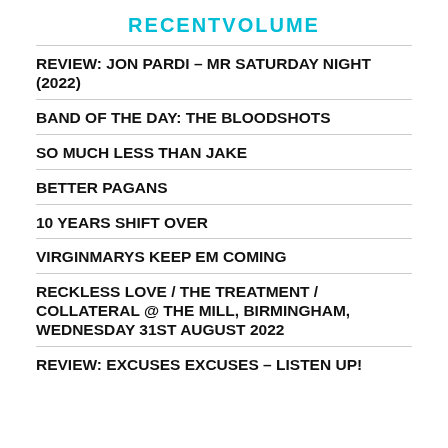RECENTVOLUME
REVIEW: JON PARDI – MR SATURDAY NIGHT (2022)
BAND OF THE DAY: THE BLOODSHOTS
SO MUCH LESS THAN JAKE
BETTER PAGANS
10 YEARS SHIFT OVER
VIRGINMARYS KEEP EM COMING
RECKLESS LOVE / THE TREATMENT / COLLATERAL @ THE MILL, BIRMINGHAM, WEDNESDAY 31ST AUGUST 2022
REVIEW: EXCUSES EXCUSES – LISTEN UP!